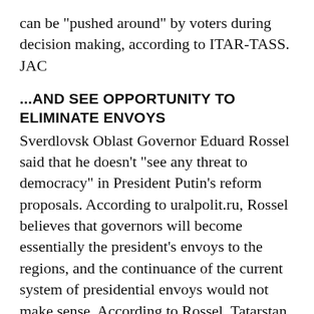can be "pushed around" by voters during decision making, according to ITAR-TASS. JAC
...AND SEE OPPORTUNITY TO ELIMINATE ENVOYS
Sverdlovsk Oblast Governor Eduard Rossel said that he doesn't "see any threat to democracy" in President Putin's reform proposals. According to uralpolit.ru, Rossel believes that governors will become essentially the president's envoys to the regions, and the continuance of the current system of presidential envoys would not make sense. According to Rossel, Tatarstan Republic President Mintimer Shaimiev suggested to Putin during the meeting on 13 September that all layers of federal bureaucracy between the governors and the president should be eliminated. Speaking on 15 September, Saratov Oblast Governor Dmitrii Avatskov agreed, noting, "If the president